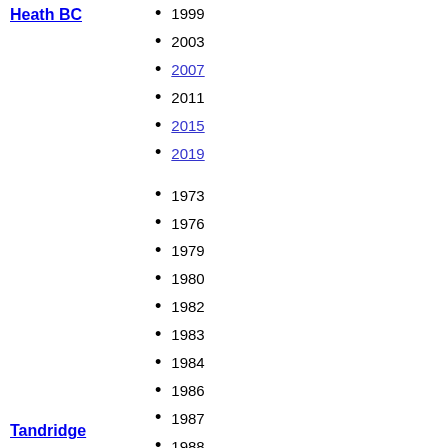Heath BC
1999
2003
2007
2011
2015
2019
1973
1976
1979
1980
1982
1983
1984
1986
1987
1988
1990
1991
1992
1994
1995
1996
1998
Tandridge
1999